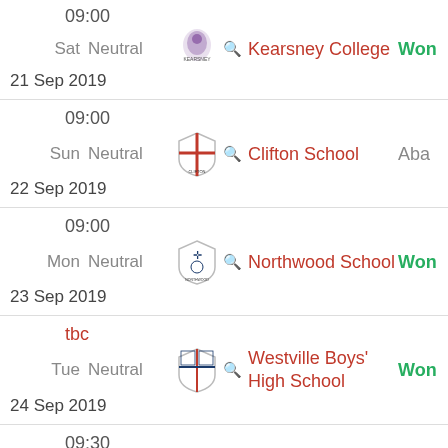09:00 | Sat | Neutral | Kearsney College | Won | 21 Sep 2019
09:00 | Sun | Neutral | Clifton School | Abandoned | 22 Sep 2019
09:00 | Mon | Neutral | Northwood School | Won | 23 Sep 2019
tbc | Tue | Neutral | Westville Boys' High School | Won | 24 Sep 2019
09:30